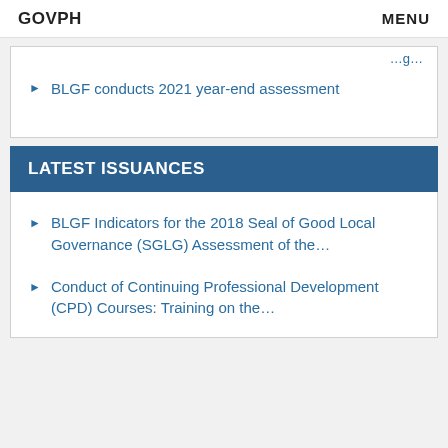GOVPH   MENU
BLGF conducts 2021 year-end assessment
LATEST ISSUANCES
BLGF Indicators for the 2018 Seal of Good Local Governance (SGLG) Assessment of the…
Conduct of Continuing Professional Development (CPD) Courses: Training on the…